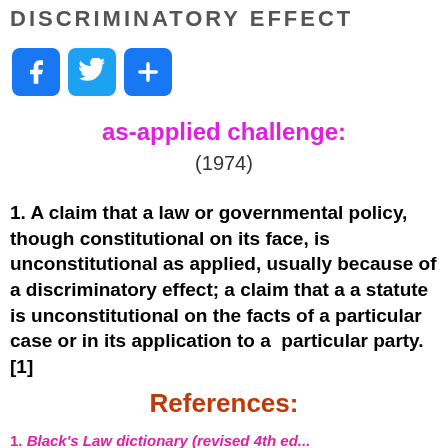DISCRIMINATORY EFFECT
[Figure (other): Social media share buttons: Facebook, Twitter, and a generic share/plus button]
as-applied challenge:
(1974)
1. A claim that a law or governmental policy, though constitutional on its face, is unconstitutional as applied, usually because of a discriminatory effect; a claim that a a statute is unconstitutional on the facts of a particular case or in its application to a  particular party. [1]
References:
1. Black's Law dictionary (revised 4th ed...